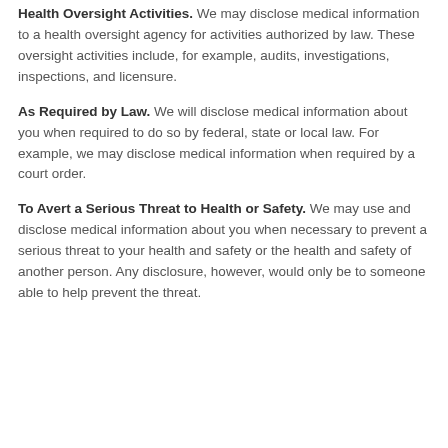Health Oversight Activities. We may disclose medical information to a health oversight agency for activities authorized by law. These oversight activities include, for example, audits, investigations, inspections, and licensure.
As Required by Law. We will disclose medical information about you when required to do so by federal, state or local law. For example, we may disclose medical information when required by a court order.
To Avert a Serious Threat to Health or Safety. We may use and disclose medical information about you when necessary to prevent a serious threat to your health and safety or the health and safety of another person. Any disclosure, however, would only be to someone able to help prevent the threat.